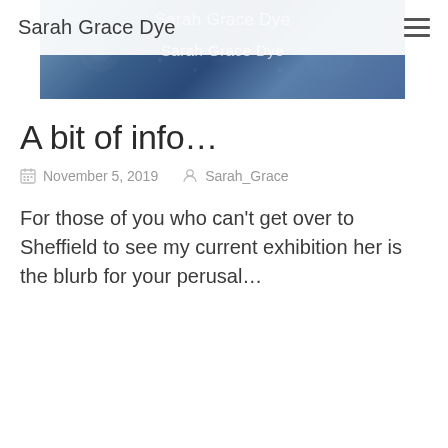Sarah Grace Dye
[Figure (photo): Blue and white decorative banner with text 'Sarah Grace Dye' overlaid, showing textile or pattern artwork in blue tones]
A bit of info…
November 5, 2019   Sarah_Grace
For those of you who can't get over to Sheffield to see my current exhibition her is the blurb for your perusal…